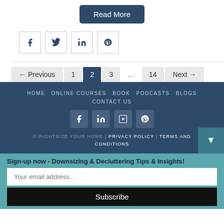Read More
[Figure (other): Social share buttons: Facebook, Twitter, LinkedIn, Pinterest]
← Previous   1   2   3   ...   14   Next →
HOME  ONLINE COURSES  BOOK  PODCASTS  BLOGS  CONTACT US
[Figure (other): Footer social icons: Facebook, LinkedIn, YouTube, Pinterest]
© RIGHTSIZE YOUR HOME | PRIVACY POLICY | TERMS AND CONDITIONS
Sign-up now - Downsizing & Decluttering Tips & Insights!
Your email address..
Subscribe